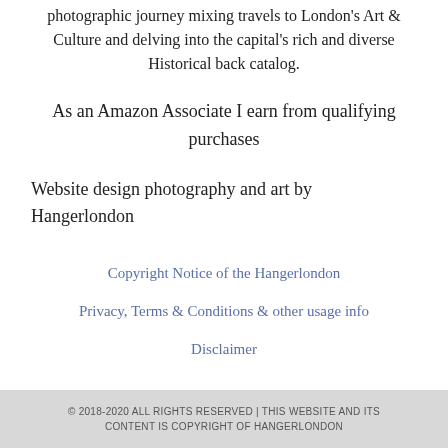photographic journey mixing travels to London's Art & Culture and delving into the capital's rich and diverse Historical back catalog.
As an Amazon Associate I earn from qualifying purchases
Website design photography and art by Hangerlondon
Copyright Notice of the Hangerlondon
Privacy, Terms & Conditions & other usage info
Disclaimer
© 2018-2020 ALL RIGHTS RESERVED | THIS WEBSITE AND ITS CONTENT IS COPYRIGHT OF HANGERLONDON